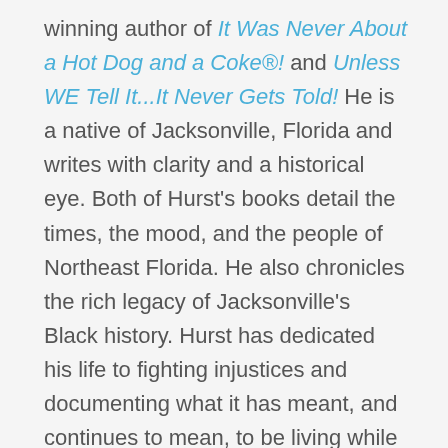winning author of It Was Never About a Hot Dog and a Coke®! and Unless WE Tell It...It Never Gets Told! He is a native of Jacksonville, Florida and writes with clarity and a historical eye. Both of Hurst's books detail the times, the mood, and the people of Northeast Florida. He also chronicles the rich legacy of Jacksonville's Black history. Hurst has dedicated his life to fighting injustices and documenting what it has meant, and continues to mean, to be living while Black in the United States.
It Was Never About a Hot Dog and a Coke®! is subtitled A Personal Account of the 1960